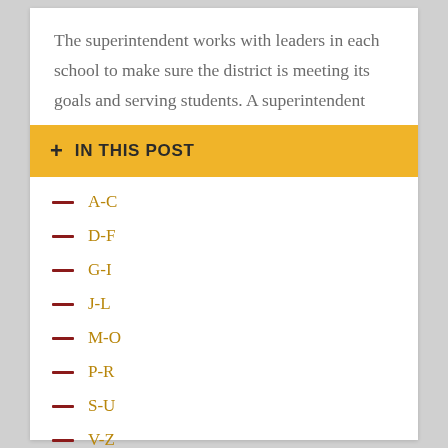The superintendent works with leaders in each school to make sure the district is meeting its goals and serving students. A superintendent
+ IN THIS POST
A-C
D-F
G-I
J-L
M-O
P-R
S-U
V-Z